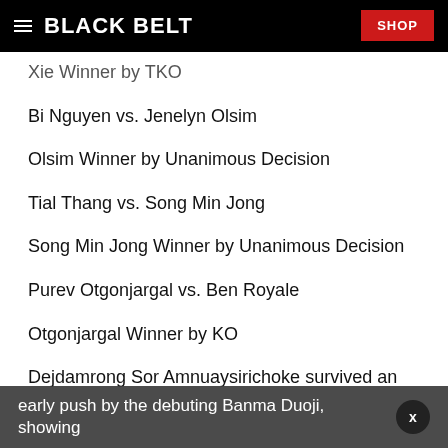BLACK BELT | SHOP
Xie Winner by TKO
Bi Nguyen vs. Jenelyn Olsim
Olsim Winner by Unanimous Decision
Tial Thang vs. Song Min Jong
Song Min Jong Winner by Unanimous Decision
Purev Otgonjargal vs. Ben Royale
Otgonjargal Winner by KO
Dejdamrong Sor Amnuaysirichoke survived an early push by the debuting Banma Duoji, showing